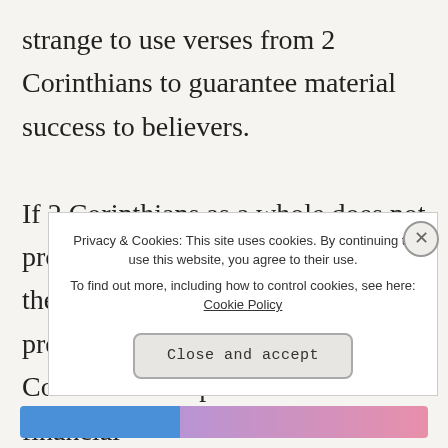strange to use verses from 2 Corinthians to guarantee material success to believers. If 2 Corinthians as a whole does not promise prosperity to believers, then how is it that prosperity preachers keep turning to 2 Corinthians for promises of financial b... i...
Privacy & Cookies: This site uses cookies. By continuing to use this website, you agree to their use. To find out more, including how to control cookies, see here: Cookie Policy
Close and accept